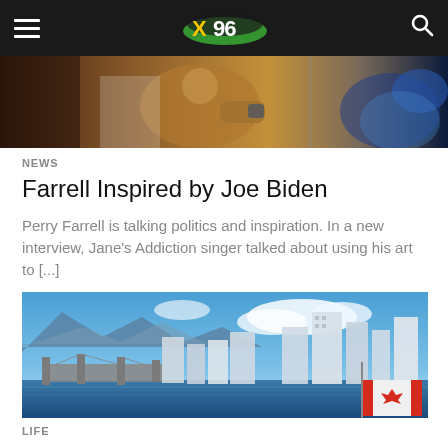X96 — navigation header with hamburger menu and search icon
[Figure (photo): Concert photo showing performer with tattoos and stage lighting with blue lights in background]
NEWS
Farrell Inspired by Joe Biden
Perry Farrell is talking politics and inspiration. In a new interview, Jane's Addiction singer talked about using his art to [...]
[Figure (photo): Cityscape of Vancouver Canada with blue sky, mountains, bridge, skyscrapers, and Canadian flag in foreground]
LIFE